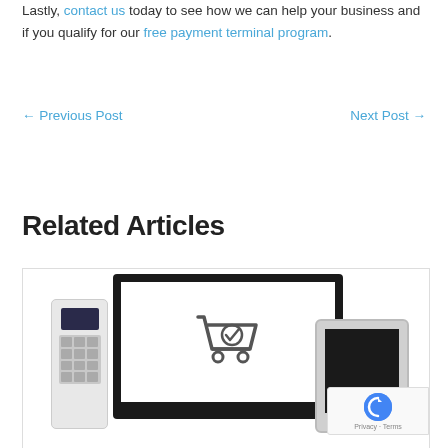Lastly, contact us today to see how we can help your business and if you qualify for our free payment terminal program.
← Previous Post   Next Post →
Related Articles
[Figure (photo): A payment terminal / POS device on the left, a laptop/monitor in the center showing a shopping cart with checkmark icon on screen, and a tablet device on the right. A reCAPTCHA badge appears in the bottom right corner.]